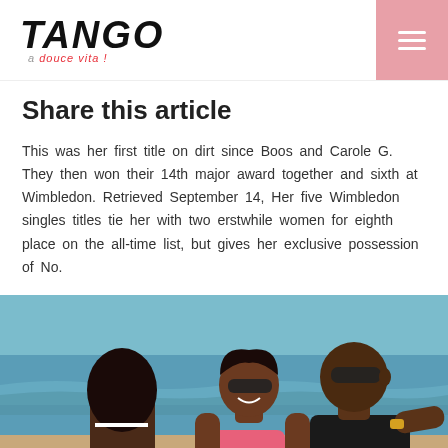TANGO - a douce vita !
Share this article
This was her first title on dirt since Boos and Carole G. They then won their 14th major award together and sixth at Wimbledon. Retrieved September 14, Her five Wimbledon singles titles tie her with two erstwhile women for eighth place on the all-time list, but gives her exclusive possession of No.
[Figure (photo): Three people standing on a beach. Two women and a man, one woman wearing sunglasses and a pink bikini top, pointing, man wearing sunglasses and a black shirt.]